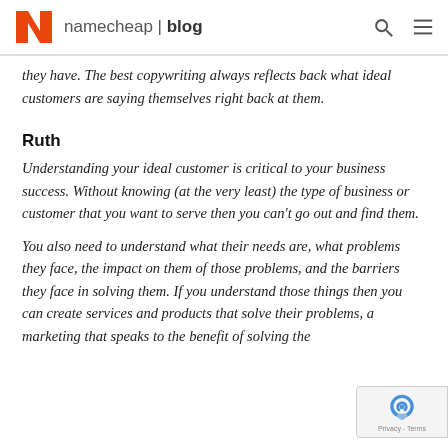namecheap | blog
they have. The best copywriting always reflects back what ideal customers are saying themselves right back at them.
Ruth
Understanding your ideal customer is critical to your business success. Without knowing (at the very least) the type of business or customer that you want to serve then you can't go out and find them.
You also need to understand what their needs are, what problems they face, the impact on them of those problems, and the barriers they face in solving them. If you understand those things then you can create services and products that solve their problems, and marketing that speaks to the benefit of solving the problems…